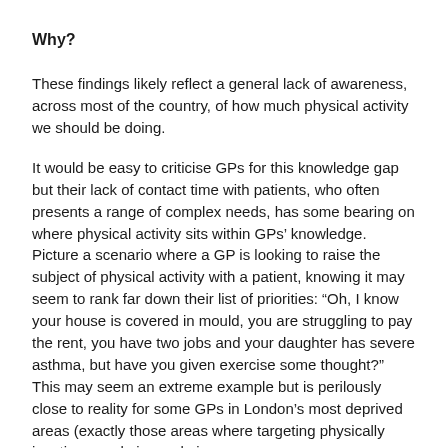Why?
These findings likely reflect a general lack of awareness, across most of the country, of how much physical activity we should be doing.
It would be easy to criticise GPs for this knowledge gap but their lack of contact time with patients, who often presents a range of complex needs, has some bearing on where physical activity sits within GPs' knowledge. Picture a scenario where a GP is looking to raise the subject of physical activity with a patient, knowing it may seem to rank far down their list of priorities: “Oh, I know your house is covered in mould, you are struggling to pay the rent, you have two jobs and your daughter has severe asthma, but have you given exercise some thought?” This may seem an extreme example but is perilously close to reality for some GPs in London’s most deprived areas (exactly those areas where targeting physically inactive people is an obvious